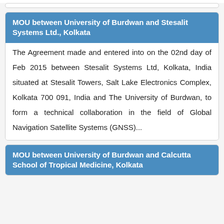MOU between University of Burdwan and Stesalit Systems Ltd., Kolkata
The Agreement made and entered into on the 02nd day of Feb 2015 between Stesalit Systems Ltd, Kolkata, India situated at Stesalit Towers, Salt Lake Electronics Complex, Kolkata 700 091, India and The University of Burdwan, to form a technical collaboration in the field of Global Navigation Satellite Systems (GNSS)...
MOU between University of Burdwan and Calcutta School of Tropical Medicine, Kolkata